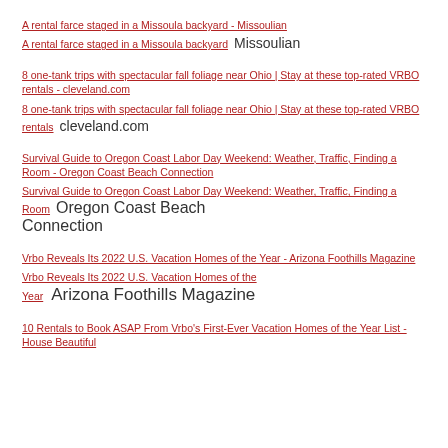A rental farce staged in a Missoula backyard - Missoulian
A rental farce staged in a Missoula backyard   Missoulian
8 one-tank trips with spectacular fall foliage near Ohio | Stay at these top-rated VRBO rentals - cleveland.com
8 one-tank trips with spectacular fall foliage near Ohio | Stay at these top-rated VRBO rentals   cleveland.com
Survival Guide to Oregon Coast Labor Day Weekend: Weather, Traffic, Finding a Room - Oregon Coast Beach Connection
Survival Guide to Oregon Coast Labor Day Weekend: Weather, Traffic, Finding a Room   Oregon Coast Beach Connection
Vrbo Reveals Its 2022 U.S. Vacation Homes of the Year - Arizona Foothills Magazine
Vrbo Reveals Its 2022 U.S. Vacation Homes of the Year   Arizona Foothills Magazine
10 Rentals to Book ASAP From Vrbo's First-Ever Vacation Homes of the Year List - House Beautiful